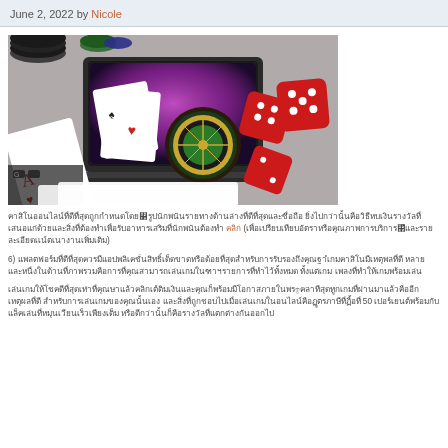June 2, 2022 by Nicole
[Figure (photo): Online casino themed image showing a laptop with casino items including playing cards, roulette wheel, red dice, and casino chips]
Thai language paragraph text about online casino with an orange link
6) Thai language paragraph text (item 6 in a list)
Thai language paragraph text mentioning 50